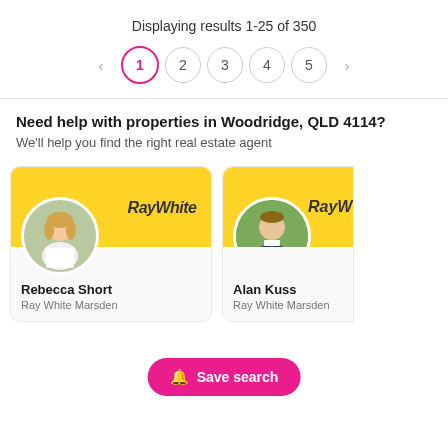Displaying results 1-25 of 350
< 1 2 3 4 5 >
Need help with properties in Woodridge, QLD 4114?
We'll help you find the right real estate agent
[Figure (photo): Agent card for Rebecca Short at Ray White Marsden with Ray White logo on yellow banner]
Rebecca Short
Ray White Marsden
[Figure (photo): Partial agent card for Alan Kuss at Ray White Marsden with Ray White logo on yellow banner]
Alan Kuss
Ray White Marsden
Save search